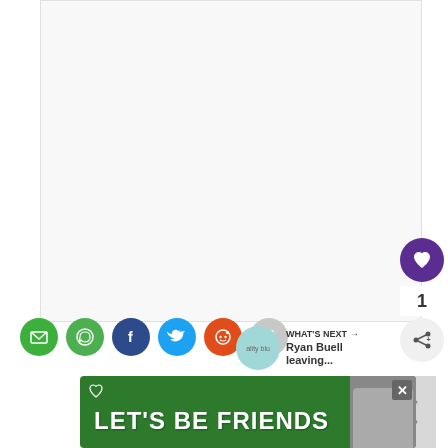[Figure (screenshot): Large blank white/light gray content area representing main page article content area]
[Figure (infographic): Social media share buttons row: email (green), WhatsApp (green), Facebook (dark blue), Twitter (light blue), Reddit (orange), print (gray)]
[Figure (infographic): Sidebar like button (purple circle with heart), count '1', and share button (light gray circle with share icon)]
[Figure (infographic): What's Next panel with thumbnail image and text 'Ryan Buell leaving...']
[Figure (infographic): Ad banner with green background showing 'LET'S BE FRIENDS' text with dog image and close buttons]